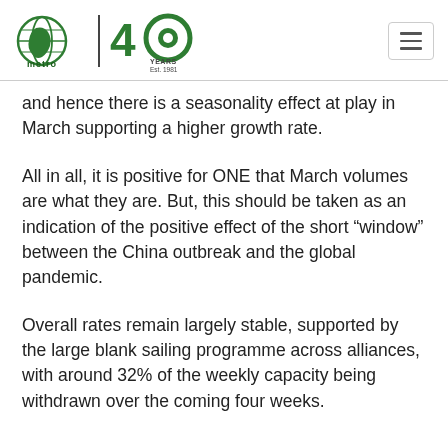Metro 40 Years Est. 1981
and hence there is a seasonality effect at play in March supporting a higher growth rate.
All in all, it is positive for ONE that March volumes are what they are. But, this should be taken as an indication of the positive effect of the short “window” between the China outbreak and the global pandemic.
Overall rates remain largely stable, supported by the large blank sailing programme across alliances, with around 32% of the weekly capacity being withdrawn over the coming four weeks.